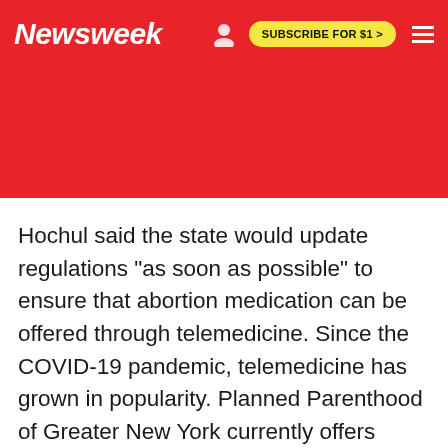Newsweek | SUBSCRIBE FOR $1 >
Hochul said the state would update regulations "as soon as possible" to ensure that abortion medication can be offered through telemedicine. Since the COVID-19 pandemic, telemedicine has grown in popularity. Planned Parenthood of Greater New York currently offers abortion-related telemedicine services.